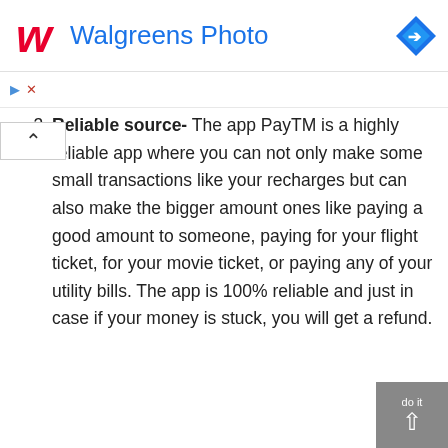Walgreens Photo
3. Reliable source- The app PayTM is a highly reliable app where you can not only make some small transactions like your recharges but can also make the bigger amount ones like paying a good amount to someone, paying for your flight ticket, for your movie ticket, or paying any of your utility bills. The app is 100% reliable and just in case if your money is stuck, you will get a refund.
4. Digital savings bank- PayTM has started their online digital savings bank where users can keep their money on PayTM bank and get interested in the same just like they do it in banks. There are no minimum charges required for the same and the app has also